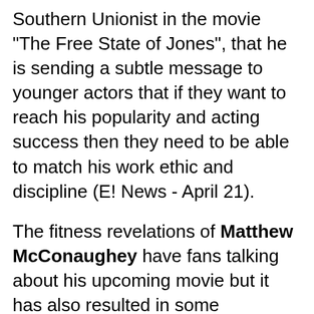Southern Unionist in the movie "The Free State of Jones", that he is sending a subtle message to younger actors that if they want to reach his popularity and acting success then they need to be able to match his work ethic and discipline (E! News - April 21).
The fitness revelations of Matthew McConaughey have fans talking about his upcoming movie but it has also resulted in some entertainment observers starting to acknowledge and appreciate that the success of this Academy Award winning actor is partly due to the discipline that he displays in getting his body ready to play a character.